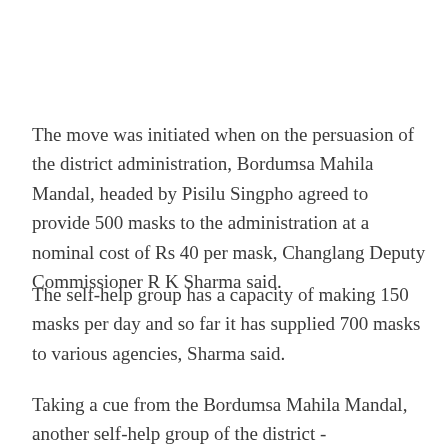The move was initiated when on the persuasion of the district administration, Bordumsa Mahila Mandal, headed by Pisilu Singpho agreed to provide 500 masks to the administration at a nominal cost of Rs 40 per mask, Changlang Deputy Commissioner R K Sharma said.
The self-help group has a capacity of making 150 masks per day and so far it has supplied 700 masks to various agencies, Sharma said.
Taking a cue from the Bordumsa Mahila Mandal, another self-help group of the district - Changlangkan Self-Help